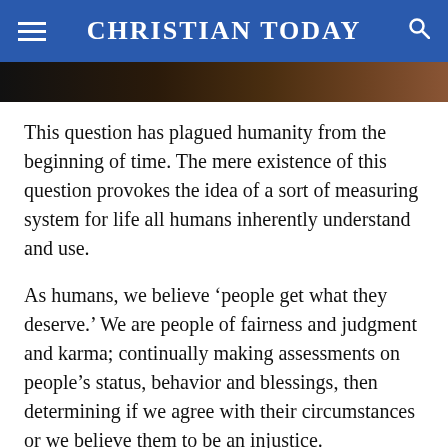CHRISTIAN TODAY
[Figure (photo): Partial photo strip at top of article, dark brownish tones]
This question has plagued humanity from the beginning of time. The mere existence of this question provokes the idea of a sort of measuring system for life all humans inherently understand and use.
As humans, we believe ‘people get what they deserve.’ We are people of fairness and judgment and karma; continually making assessments on people’s status, behavior and blessings, then determining if we agree with their circumstances or we believe them to be an injustice.
If we hear of a murderer killed, it touches us in a different way than if a church-going, loving husband, father of 3 was